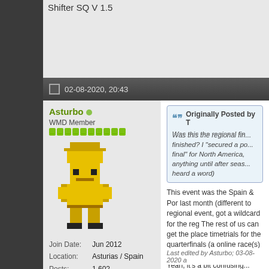Shifter SQ V 1.5
02-08-2020, 20:43
Asturbo (online)
WMD Member
Join Date: Jun 2012
Location: Asturias / Spain
Posts: 1,602
Platform: PC
[Figure (illustration): Pixel art avatar of a yellow muscular character wearing a hat]
Originally Posted by T
Was this the regional final finished? I "secured a place in the final" for North America, didn't hear anything until after season, never heard a word)
This event was the Spain & Por last month (different to regional event, got a wildcard for the reg The rest of us can get the place timetrials for the quarterfinals (a online race(s) advances to the r wildcards.
Yeah, it's a bit confusing...
Last edited by Asturbo; 03-08-2020 a